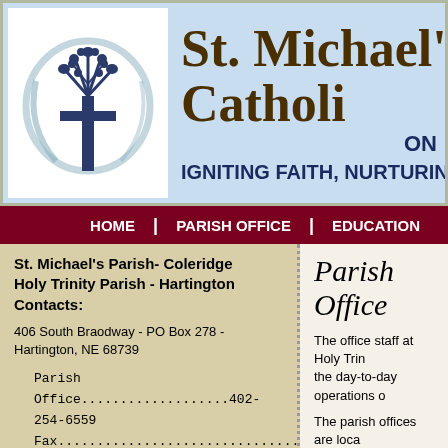[Figure (logo): Tree with cross logo inside a circular design, St. Michael's Catholic Parish logo]
St. Michael's Catholic
ONLINE
IGNITING FAITH, NURTURING C
HOME | PARISH OFFICE | EDUCATION
St. Michael's Parish- Coleridge Holy Trinity Parish - Hartington Contacts:
406 South Braodway - PO Box 278 - Hartington, NE 68739
Parish Office...................402-254-6559
Fax...............................402-254-6553
SACRAMENTAL SCHEDULE
Parish Office
The office staff at Holy Trin the day-to-day operations o
The parish offices are loca
Office Information
Weekly Bulletin
Mass Intentions
Sacramental Records
Baptism
Reconciliation
Anointing of the Sick